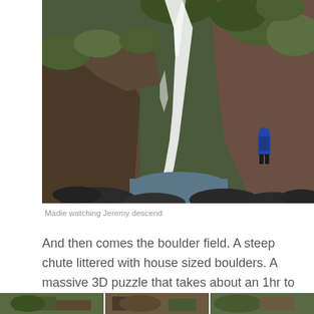[Figure (photo): A large waterfall cascading down a rocky cliff face covered with green vegetation. A person in blue gear stands at the base to the right. A pool of water sits at the bottom with large dark boulders in the foreground.]
Madie watching Jeremy descend
And then comes the boulder field. A steep chute littered with house sized boulders. A massive 3D puzzle that takes about an 1hr to negotiate.
[Figure (photo): Partial view of bottom strip of photos showing outdoor/nature scenes.]